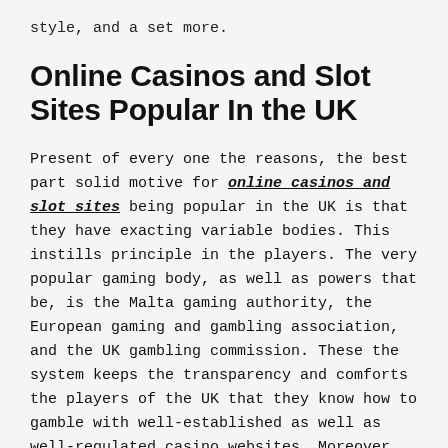style, and a set more.
Online Casinos and Slot Sites Popular In the UK
Present of every one the reasons, the best part solid motive for online casinos and slot sites being popular in the UK is that they have exacting variable bodies. This instills principle in the players. The very popular gaming body, as well as powers that be, is the Malta gaming authority, the European gaming and gambling association, and the UK gambling commission. These the system keeps the transparency and comforts the players of the UK that they know how to gamble with well-established as well as well-regulated casino websites. Moreover, the government of the UK ensures that the operators follow the strict policy which is applied to casino gaming as well as data protection.
On the other hand, the mobile play also contributes to the enthusiasm for slot sites and online casinos in the UK. In 2018,